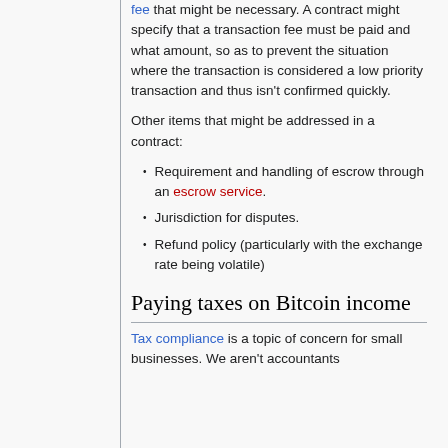fee that might be necessary. A contract might specify that a transaction fee must be paid and what amount, so as to prevent the situation where the transaction is considered a low priority transaction and thus isn't confirmed quickly.
Other items that might be addressed in a contract:
Requirement and handling of escrow through an escrow service.
Jurisdiction for disputes.
Refund policy (particularly with the exchange rate being volatile)
Paying taxes on Bitcoin income
Tax compliance is a topic of concern for small businesses. We aren't accountants